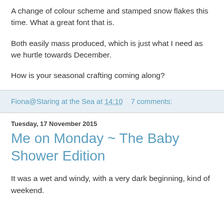A change of colour scheme and stamped snow flakes this time. What a great font that is.
Both easily mass produced, which is just what I need as we hurtle towards December.
How is your seasonal crafting coming along?
Fiona@Staring at the Sea at 14:10    7 comments:
Tuesday, 17 November 2015
Me on Monday ~ The Baby Shower Edition
It was a wet and windy, with a very dark beginning, kind of weekend.